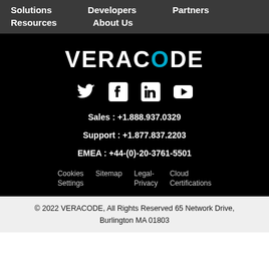Solutions   Developers   Partners
Resources   About Us
[Figure (logo): Veracode logo in white bold text with cyan/blue letter O]
[Figure (infographic): Social media icons: Twitter, Facebook, LinkedIn, YouTube in white on black]
Sales : +1.888.937.0329
Support : +1.877.837.2203
EMEA : +44-(0)-20-3761-5501
Cookies Settings
Sitemap
Legal-Privacy
Cloud Certifications
© 2022 VERACODE, All Rights Reserved 65 Network Drive, Burlington MA 01803